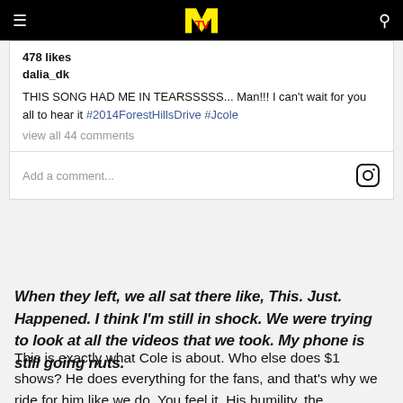[Figure (screenshot): MTV website navigation bar with logo, hamburger menu, and search icon on black background]
[Figure (screenshot): Instagram embed card showing 478 likes, username dalia_dk, caption about J. Cole song with hashtags #2014ForestHillsDrive #Jcole, view all 44 comments, and Add a comment field]
When they left, we all sat there like, This. Just. Happened. I think I'm still in shock. We were trying to look at all the videos that we took. My phone is still going nuts.
This is exactly what Cole is about. Who else does $1 shows? He does everything for the fans, and that's why we ride for him like we do. You feel it. His humility, the